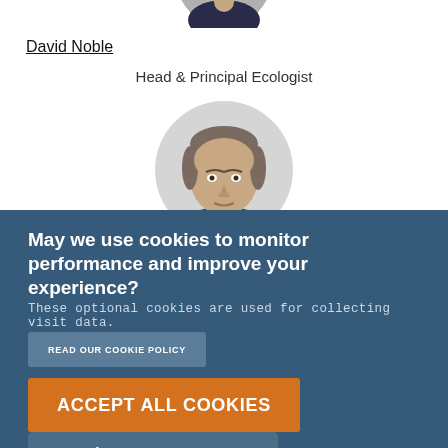[Figure (photo): Partial circular profile photo of a person (David Noble) cropped at the top of the page — only the lower portion of the face/shoulders visible]
David Noble
Head & Principal Ecologist
[Figure (photo): Circular profile photo of a middle-aged man with short grey/brown hair, partially cropped at the bottom by the cookie banner overlay]
May we use cookies to monitor performance and improve your experience?
These optional cookies are used for collecting visit data.
READ OUR COOKIE POLICY
ACCEPT ALL COOKIES
Set preferences